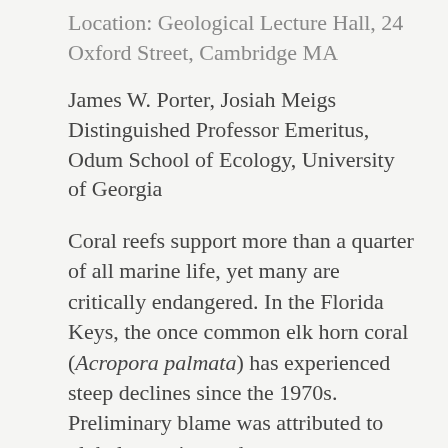Location: Geological Lecture Hall, 24 Oxford Street, Cambridge MA
James W. Porter, Josiah Meigs Distinguished Professor Emeritus, Odum School of Ecology, University of Georgia
Coral reefs support more than a quarter of all marine life, yet many are critically endangered. In the Florida Keys, the once common elk horn coral (Acropora palmata) has experienced steep declines since the 1970s. Preliminary blame was attributed to global warming and